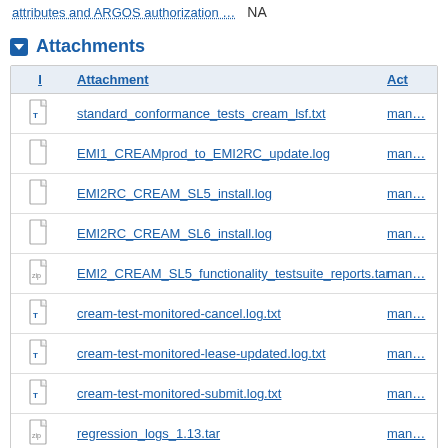attributes and ARGOS authorization ... NA
Attachments
| I | Attachment | Act |
| --- | --- | --- |
| [txt icon] | standard_conformance_tests_cream_lsf.txt | man... |
| [file icon] | EMI1_CREAMprod_to_EMI2RC_update.log | man... |
| [file icon] | EMI2RC_CREAM_SL5_install.log | man... |
| [file icon] | EMI2RC_CREAM_SL6_install.log | man... |
| [zip icon] | EMI2_CREAM_SL5_functionality_testsuite_reports.tar | man... |
| [txt icon] | cream-test-monitored-cancel.log.txt | man... |
| [txt icon] | cream-test-monitored-lease-updated.log.txt | man... |
| [txt icon] | cream-test-monitored-submit.log.txt | man... |
| [zip icon] | regression_logs_1.13.tar | man... |